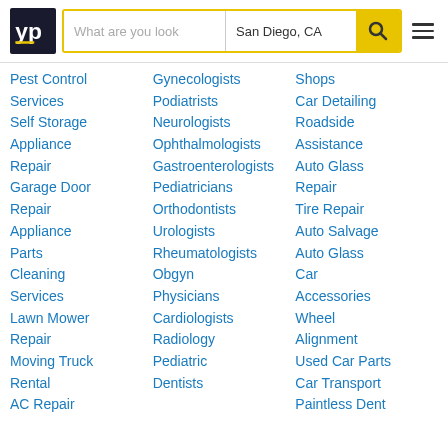[Figure (logo): YP (Yellow Pages) logo - white 'yp' text with yellow underline on dark navy background]
Pest Control Services
Self Storage
Appliance Repair
Garage Door Repair
Appliance Parts
Cleaning Services
Lawn Mower Repair
Moving Truck Rental
AC Repair
Gynecologists
Podiatrists
Neurologists
Ophthalmologists
Gastroenterologists
Pediatricians
Orthodontists
Urologists
Rheumatologists
Obgyn
Physicians
Cardiologists
Radiology
Pediatric Dentists
Shops
Car Detailing
Roadside Assistance
Auto Glass Repair
Tire Repair
Auto Salvage
Auto Glass
Car Accessories
Wheel Alignment
Used Car Parts
Car Transport
Paintless Dent